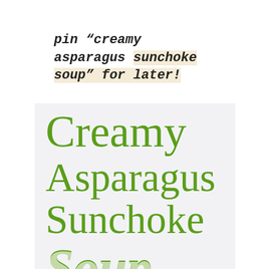pin “creamy asparagus sunchoke soup” for later!
Creamy Asparagus Sunchoke Soup